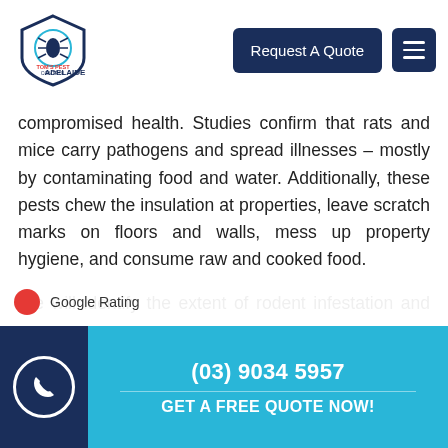Tom's Pest Control Adelaide — Request A Quote
compromised health. Studies confirm that rats and mice carry pathogens and spread illnesses – mostly by contaminating food and water. Additionally, these pests chew the insulation at properties, leave scratch marks on floors and walls, mess up property hygiene, and consume raw and cooked food.
We will identify the extent of rodent infestation and the pest invasion reasons through a pest inspection. We will [offer] control treatment options, in
(03) 9034 5957 — GET A FREE QUOTE NOW!